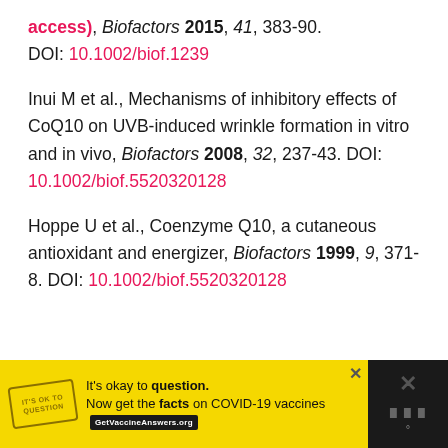access), Biofactors 2015, 41, 383-90. DOI: 10.1002/biof.1239
Inui M et al., Mechanisms of inhibitory effects of CoQ10 on UVB-induced wrinkle formation in vitro and in vivo, Biofactors 2008, 32, 237-43. DOI: 10.1002/biof.5520320128
Hoppe U et al., Coenzyme Q10, a cutaneous antioxidant and energizer, Biofactors 1999, 9, 371-8. DOI: 10.1002/biof.5520320128
[Figure (other): Advertisement banner: yellow background with 'It's okay to question.' text about COVID-19 vaccines, GetVaccineAnswers.org, with a black right panel showing close icons.]